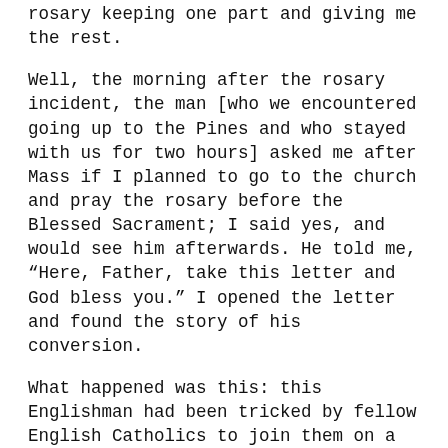rosary keeping one part and giving me the rest.
Well, the morning after the rosary incident, the man [who we encountered going up to the Pines and who stayed with us for two hours] asked me after Mass if I planned to go to the church and pray the rosary before the Blessed Sacrament; I said yes, and would see him afterwards. He told me, “Here, Father, take this letter and God bless you.” I opened the letter and found the story of his conversion.
What happened was this: this Englishman had been tricked by fellow English Catholics to join them on a pilgrimage. They visited the tomb of St. Peter in Rome, and he made fun of it. They went to Lourdes and he made fun of the Virgin. They went to Fatima and Santiago de Compostela and he made fun of and blasphemed the Virgin. He was angry with everything and everyone who had deceived him into taking the pilgrimage. This explains why he indignantly refused our help when climbing the slippery path. Here is what